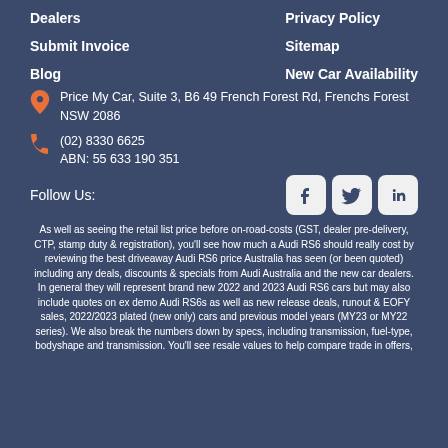Dealers
Privacy Policy
Submit Invoice
Sitemap
Blog
New Car Availability
Price My Car, Suite 3, B6 49 French Forest Rd, Frenchs Forest NSW 2086
(02) 8330 6625
ABN: 55 633 190 351
Follow Us:
[Figure (logo): Facebook, Twitter, LinkedIn social media icons]
As well as seeing the retail list price before on-road-costs (GST, dealer pre-delivery, CTP, stamp duty & registration), you'll see how much a Audi RS6 should really cost by reviewing the best driveaway Audi RS6 price Australia has seen (or been quoted) including any deals, discounts & specials from Audi Australia and the new car dealers. In general they will represent brand new 2022 and 2023 Audi RS6 cars but may also include quotes on ex demo Audi RS6s as well as new release deals, runout & EOFY sales, 2022/2023 plated (new only) cars and previous model years (MY23 or MY22 series). We also break the numbers down by specs, including transmission, fuel-type, bodyshape and transmission. You'll see resale values to help compare trade in offers,